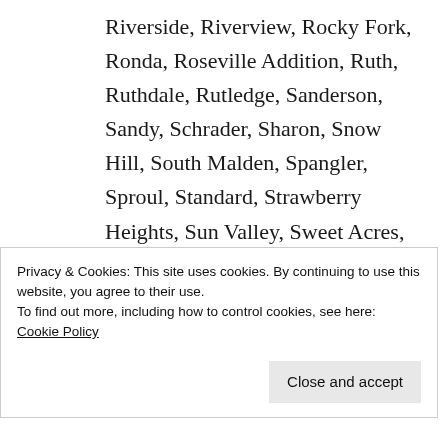Riverside, Riverview, Rocky Fork, Ronda, Roseville Addition, Ruth, Ruthdale, Rutledge, Sanderson, Sandy, Schrader, Sharon, Snow Hill, South Malden, Spangler, Sproul, Standard, Strawberry Heights, Sun Valley, Sweet Acres, Tad, Three Mile, Turner, Tyler Heights, Tyler Mountain, United, Victor, Virginia Heights,
Privacy & Cookies: This site uses cookies. By continuing to use this website, you agree to their use.
To find out more, including how to control cookies, see here: Cookie Policy